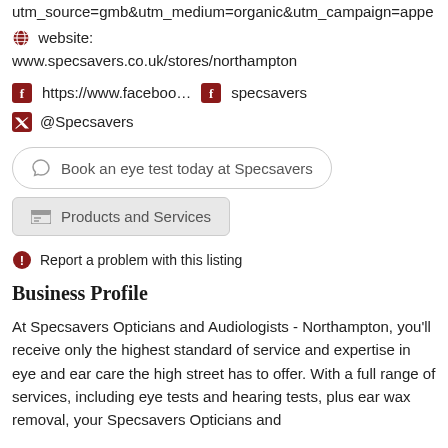utm_source=gmb&utm_medium=organic&utm_campaign=appe
🌐 website: www.specsavers.co.uk/stores/northampton
f https://www.faceboo...  f specsavers
@Specsavers
Book an eye test today at Specsavers
Products and Services
Report a problem with this listing
Business Profile
At Specsavers Opticians and Audiologists - Northampton, you'll receive only the highest standard of service and expertise in eye and ear care the high street has to offer. With a full range of services, including eye tests and hearing tests, plus ear wax removal, your Specsavers Opticians and